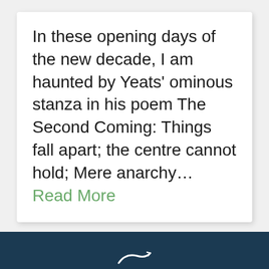In these opening days of the new decade, I am haunted by Yeats' ominous stanza in his poem The Second Coming: Things fall apart; the centre cannot hold; Mere anarchy… Read More
[Figure (logo): White curved swoosh logo on dark navy footer bar]